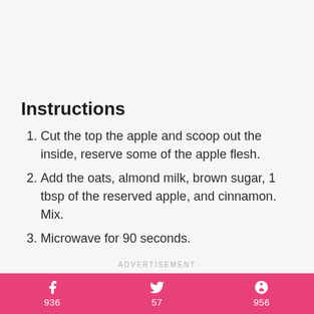Instructions
Cut the top the apple and scoop out the inside, reserve some of the apple flesh.
Add the oats, almond milk, brown sugar, 1 tbsp of the reserved apple, and cinnamon. Mix.
Microwave for 90 seconds.
ADVERTISEMENT
936  57  956